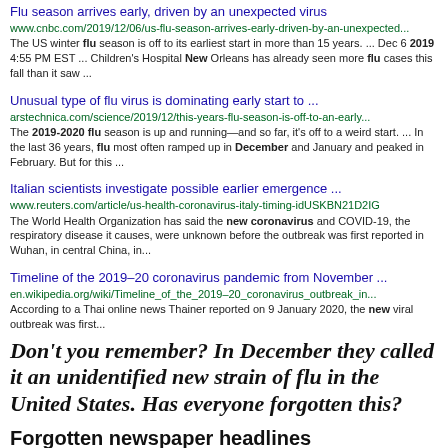Flu season arrives early, driven by an unexpected virus
www.cnbc.com/2019/12/06/us-flu-season-arrives-early-driven-by-an-unexpected...
The US winter flu season is off to its earliest start in more than 15 years. ... Dec 6 2019 4:55 PM EST ... Children's Hospital New Orleans has already seen more flu cases this fall than it saw ...
Unusual type of flu virus is dominating early start to ...
arstechnica.com/science/2019/12/this-years-flu-season-is-off-to-an-early...
The 2019-2020 flu season is up and running—and so far, it's off to a weird start. ... In the last 36 years, flu most often ramped up in December and January and peaked in February. But for this ...
Italian scientists investigate possible earlier emergence ...
www.reuters.com/article/us-health-coronavirus-italy-timing-idUSKBN21D2IG
The World Health Organization has said the new coronavirus and COVID-19, the respiratory disease it causes, were unknown before the outbreak was first reported in Wuhan, in central China, in...
Timeline of the 2019–20 coronavirus pandemic from November ...
en.wikipedia.org/wiki/Timeline_of_the_2019–20_coronavirus_outbreak_in...
According to a Thai online news Thaiber reported on 9 January 2020, the new viral outbreak was first...
Don't you remember? In December they called it an unidentified new strain of flu in the United States. Has everyone forgotten this?
Forgotten newspaper headlines
In March 2020 the news media in the United States began to provide more information on the symptoms of the Corona Virus . . . but we were being told that